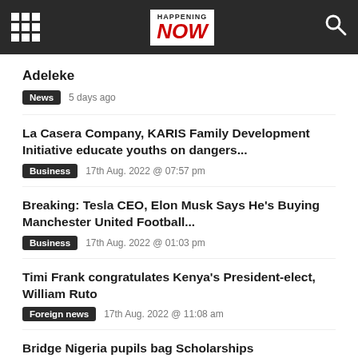Happening Now
Adeleke
News  5 days ago
La Casera Company, KARIS Family Development Initiative educate youths on dangers...
Business  17th Aug. 2022 @ 07:57 pm
Breaking: Tesla CEO, Elon Musk Says He’s Buying Manchester United Football...
Business  17th Aug. 2022 @ 01:03 pm
Timi Frank congratulates Kenya’s President-elect, William Ruto
Foreign news  17th Aug. 2022 @ 11:08 am
Bridge Nigeria pupils bag Scholarships